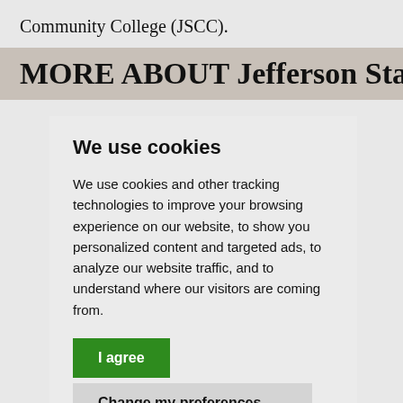Community College (JSCC).
MORE ABOUT Jefferson State
We use cookies
We use cookies and other tracking technologies to improve your browsing experience on our website, to show you personalized content and targeted ads, to analyze our website traffic, and to understand where our visitors are coming from.
I agree
Change my preferences